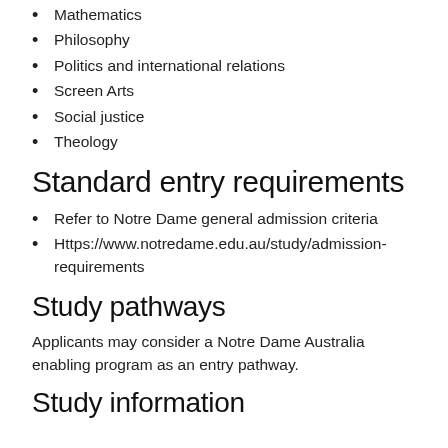Mathematics
Philosophy
Politics and international relations
Screen Arts
Social justice
Theology
Standard entry requirements
Refer to Notre Dame general admission criteria
Https://www.notredame.edu.au/study/admission-requirements
Study pathways
Applicants may consider a Notre Dame Australia enabling program as an entry pathway.
Study information